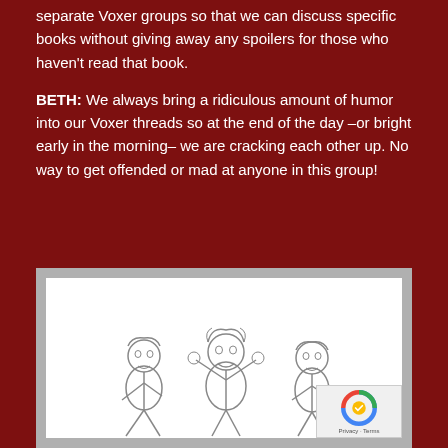separate Voxer groups so that we can discuss specific books without giving away any spoilers for those who haven't read that book.
BETH: We always bring a ridiculous amount of humor into our Voxer threads so at the end of the day –or bright early in the morning– we are cracking each other up. No way to get offended or mad at anyone in this group!
[Figure (illustration): Pencil sketch illustration of three cartoon children characters in playful poses against a white background, framed by a gray border.]